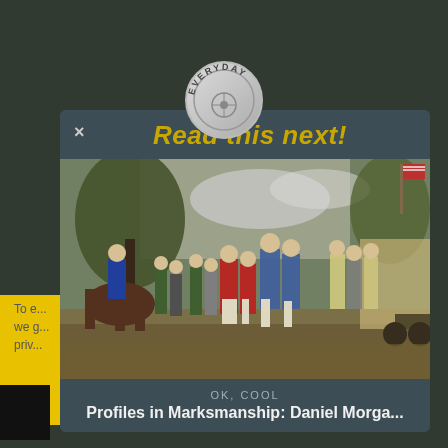[Figure (logo): Everyday marksman circular badge logo in silver/gray with text EVERYDAY around the top arc]
Read this next!
[Figure (photo): Historical painting depicting Revolutionary War scene with soldiers on horseback and on foot, possibly the surrender at Saratoga]
To e... ...est ...ience possible, we g... priv... ...c.
OK, COOL
Profiles in Marksmanship: Daniel Morga...